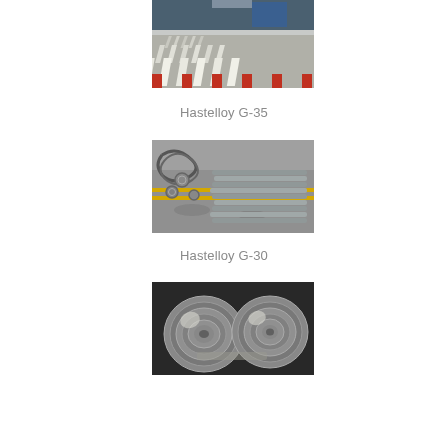[Figure (photo): Industrial metal bars/rods laid out on a rack or conveyor in a warehouse or factory setting, viewed at an angle.]
Hastelloy G-35
[Figure (photo): Metal rods and pipes/tubes stacked on a factory floor with yellow markings, some coiled metal visible.]
Hastelloy G-30
[Figure (photo): Coiled metal strip or foil rolls, shiny metallic surface, on a dark background.]